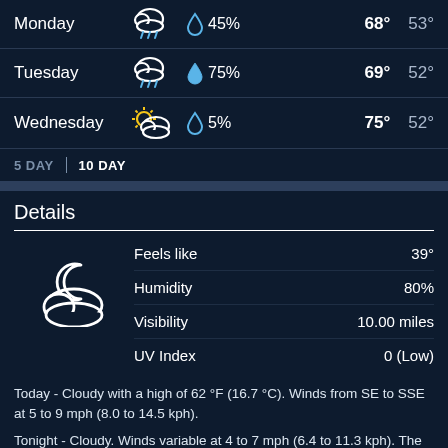| Day | Icon | Precipitation | High | Low |
| --- | --- | --- | --- | --- |
| Monday | rainy cloud | 45% | 68° | 53° |
| Tuesday | rainy cloud | 75% | 69° | 52° |
| Wednesday | partly cloudy sunny | 5% | 75° | 52° |
5 DAY | 10 DAY
Details
| Property | Value |
| --- | --- |
| Feels like | 39° |
| Humidity | 80% |
| Visibility | 10.00 miles |
| UV Index | 0 (Low) |
Today - Cloudy with a high of 62 °F (16.7 °C). Winds from SE to SSE at 5 to 9 mph (8.0 to 14.5 kph).
Tonight - Cloudy. Winds variable at 4 to 7 mph (6.4 to 11.3 kph). The overnight low will be 44 °F (6.7 °C).